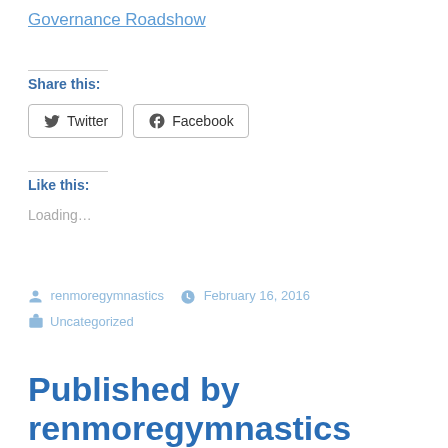Governance Roadshow
Share this:
Twitter  Facebook
Like this:
Loading…
renmoregymnastics  February 16, 2016
Uncategorized
Published by renmoregymnastics